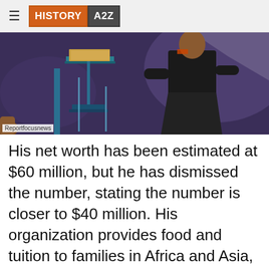HISTORY A2Z
[Figure (photo): Person standing at a podium/lectern on a stage with purple/blue lighting in the background]
Reportfocusnews
His net worth has been estimated at $60 million, but he has dismissed the number, stating the number is closer to $40 million. His organization provides food and tuition to families in Africa and Asia, and founded Free Earth Humanitarian Organisation, which works to ensure the needs of the